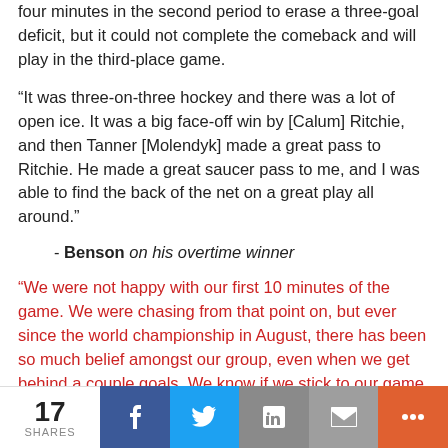four minutes in the second period to erase a three-goal deficit, but it could not complete the comeback and will play in the third-place game.
“It was three-on-three hockey and there was a lot of open ice. It was a big face-off win by [Calum] Ritchie, and then Tanner [Molendyk] made a great pass to Ritchie. He made a great saucer pass to me, and I was able to find the back of the net on a great play all around.”
- Benson on his overtime winner
“We were not happy with our first 10 minutes of the game. We were chasing from that point on, but ever since the world championship in August, there has been so much belief amongst our group, even when we get behind a couple goals. We know if we stick to our game plan, play our way and focus on the things that make us successful, we can fight back. I think we proved that again today. We have done it in the past and it shows a
17 SHARES  f  t  in  ✉  +